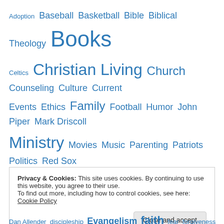Adoption Baseball Basketball Bible Biblical Theology Books Celtics Christian Living Church Counseling Culture Current Events Ethics Family Football Humor John Piper Mark Driscoll Ministry Movies Music Parenting Patriots Politics Red Sox Sports Theology Tim Keller TV Uncategorized
Privacy & Cookies: This site uses cookies. By continuing to use this website, you agree to their use. To find out more, including how to control cookies, see here: Cookie Policy
Close and accept
Dan Allender discipleship Evangelism faith fear forgiveness